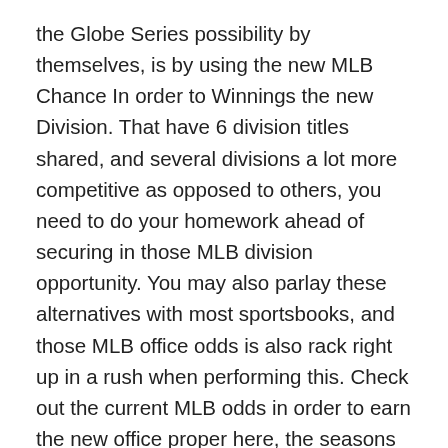the Globe Series possibility by themselves, is by using the new MLB Chance In order to Winnings the new Division. That have 6 division titles shared, and several divisions a lot more competitive as opposed to others, you need to do your homework ahead of securing in those MLB division opportunity. You may also parlay these alternatives with most sportsbooks, and those MLB office odds is also rack right up in a rush when performing this. Check out the current MLB odds in order to earn the new office proper here, the seasons long. The brand new MLB Work on line possibility try possib the new NHL Puck line, and you will rather than the newest NFL and you can NBA develops, as it's chances you to transform diversity versus range itself, games-to-games. To the MLB work on range odds, the new focus on range tend to to use +1.5 otherwise -1.5 per games as well as the opportunity often circulate according to the newest communities' sensed possibility by the